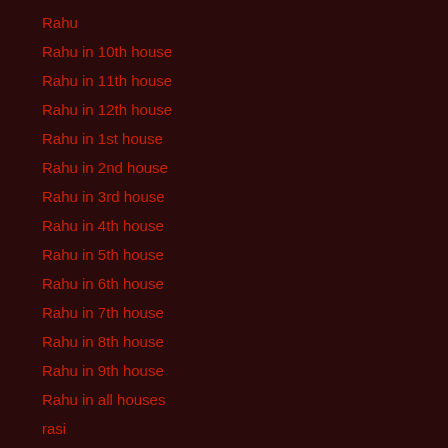Rahu
Rahu in 10th house
Rahu in 11th house
Rahu in 12th house
Rahu in 1st house
Rahu in 2nd house
Rahu in 3rd house
Rahu in 4th house
Rahu in 5th house
Rahu in 6th house
Rahu in 7th house
Rahu in 8th house
Rahu in 9th house
Rahu in all houses
rasi